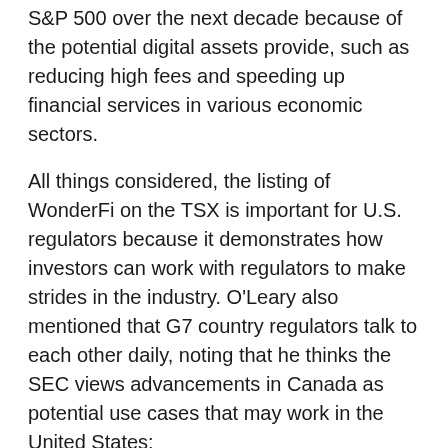S&P 500 over the next decade because of the potential digital assets provide, such as reducing high fees and speeding up financial services in various economic sectors.
All things considered, the listing of WonderFi on the TSX is important for U.S. regulators because it demonstrates how investors can work with regulators to make strides in the industry. O'Leary also mentioned that G7 country regulators talk to each other daily, noting that he thinks the SEC views advancements in Canada as potential use cases that may work in the United States:
“Regulators in Ontario allowed the first Bitcoin and Ethereum ETF. If the SEC didn’t approve this, the Ontario Securities Commission never would have allowed this. The Ontario Securities Commission is proving to other jurisdictions that these products